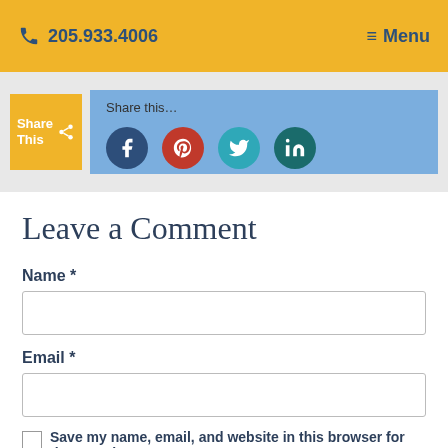205.933.4006   Menu
[Figure (infographic): Share This button with social media icons: Facebook, Pinterest, Twitter, LinkedIn on a blue background popup]
Leave a Comment
Name *
Email *
Save my name, email, and website in this browser for the next time